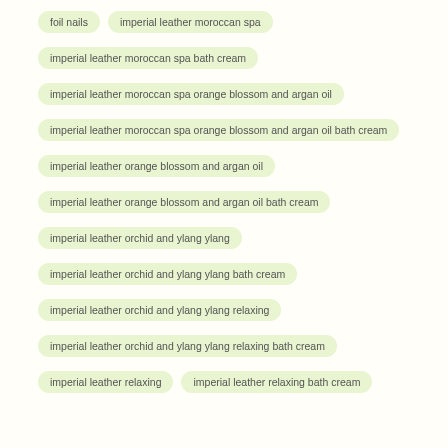foil nails
imperial leather moroccan spa
imperial leather moroccan spa bath cream
imperial leather moroccan spa orange blossom and argan oil
imperial leather moroccan spa orange blossom and argan oil bath cream
imperial leather orange blossom and argan oil
imperial leather orange blossom and argan oil bath cream
imperial leather orchid and ylang ylang
imperial leather orchid and ylang ylang bath cream
imperial leather orchid and ylang ylang relaxing
imperial leather orchid and ylang ylang relaxing bath cream
imperial leather relaxing
imperial leather relaxing bath cream